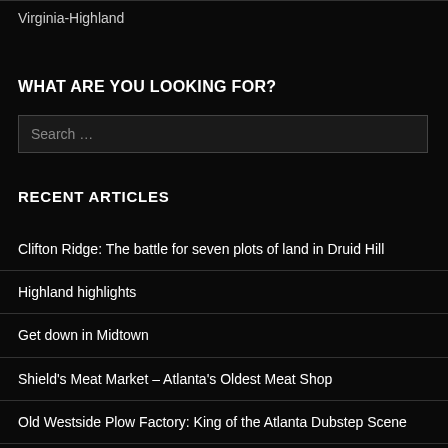Virginia-Highland
WHAT ARE YOU LOOKING FOR?
Search ...
RECENT ARTICLES
Clifton Ridge: The battle for seven plots of land in Druid Hill
Highland highlights
Get down in Midtown
Shield's Meat Market – Atlanta's Oldest Meat Shop
Old Westside Plow Factory: King of the Atlanta Dubstep Scene